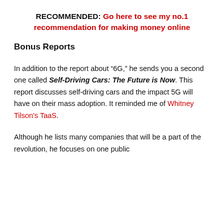RECOMMENDED: Go here to see my no.1 recommendation for making money online
Bonus Reports
In addition to the report about "6G," he sends you a second one called Self-Driving Cars: The Future is Now. This report discusses self-driving cars and the impact 5G will have on their mass adoption. It reminded me of Whitney Tilson's TaaS.
Although he lists many companies that will be a part of the revolution, he focuses on one public